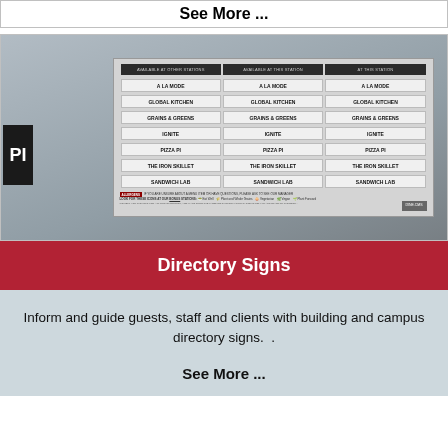See More ...
[Figure (photo): A cafeteria directory sign board mounted on a wall showing three columns of menu stations: A La Mode, Global Kitchen, Grains & Greens, Ignite, Pizza Pi, The Iron Skillet, Sandwich Lab. A large 'PI' sign is visible on the left wall.]
Directory Signs
Inform and guide guests, staff and clients with building and campus directory signs.  .
See More ...